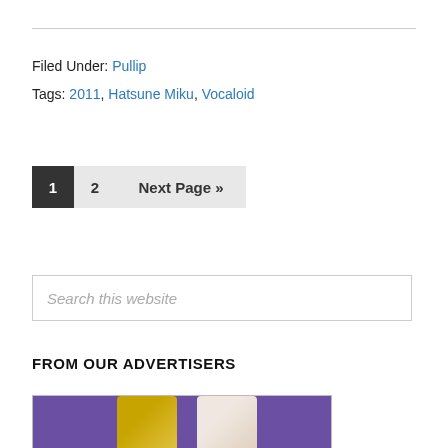Filed Under: Pullip
Tags: 2011, Hatsune Miku, Vocaloid
1  2  Next Page »
Search this website
FROM OUR ADVERTISERS
[Figure (photo): Advertisement image showing two dolls on a purple background]